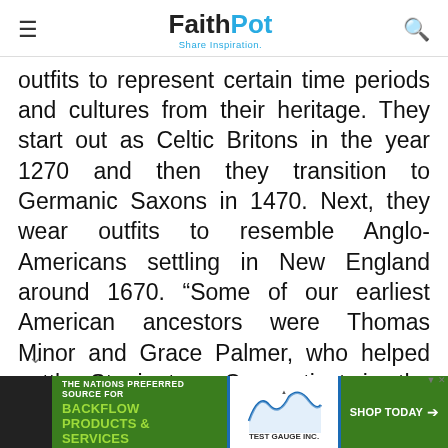FaithPot – Share Inspiration
outfits to represent certain time periods and cultures from their heritage. They start out as Celtic Britons in the year 1270 and then they transition to Germanic Saxons in 1470. Next, they wear outfits to resemble Anglo-Americans settling in New England around 1670. “Some of our earliest American ancestors were Thomas Minor and Grace Palmer, who helped settle Stonington, Connecticut in the 1650’s and founded a church there,” the girls note.
[Figure (infographic): Green advertisement banner for Test Gauge Inc. promoting backflow products and services with a 'Shop Today' call to action button.]